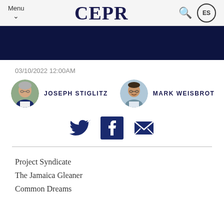Menu | CEPR | ES
[Figure (other): Dark navy banner image]
03/10/2022 12:00AM
JOSEPH STIGLITZ   MARK WEISBROT
[Figure (infographic): Social share icons: Twitter, Facebook, Email]
Project Syndicate
The Jamaica Gleaner
Common Dreams